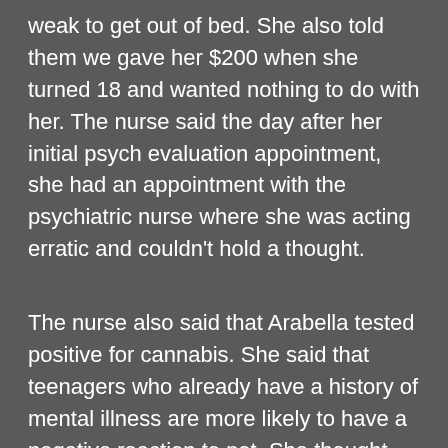weak to get out of bed. She also told them we gave her $200 when she turned 18 and wanted nothing to do with her. The nurse said the day after her initial psych evaluation appointment, she had an appointment with the psychiatric nurse where she was acting erratic and couldn't hold a thought.
The nurse also said that Arabella tested positive for cannabis. She said that teenagers who already have a history of mental illness are more likely to have a negative reaction to pot. She thought maybe Arabella's delusions were marijuana induced, even more so with